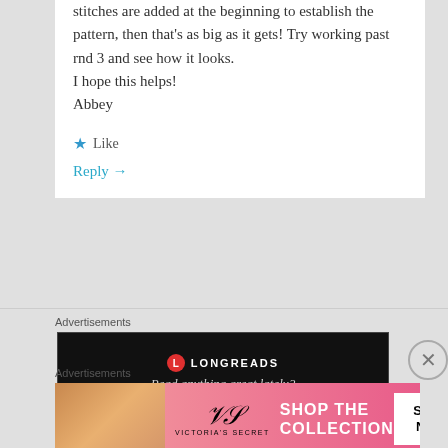stitches are added at the beginning to establish the pattern, then that's as big as it gets! Try working past rnd 3 and see how it looks.
I hope this helps!
Abbey
Like
Reply →
Advertisements
[Figure (screenshot): Longreads advertisement banner on black background: red circle logo, 'LONGREADS' text, tagline 'Read anything great lately?']
REPORT THIS AD
Advertisements
[Figure (screenshot): Victoria's Secret advertisement banner with pink gradient background, model photo, VS logo, 'SHOP THE COLLECTION' text, and 'SHOP NOW' button]